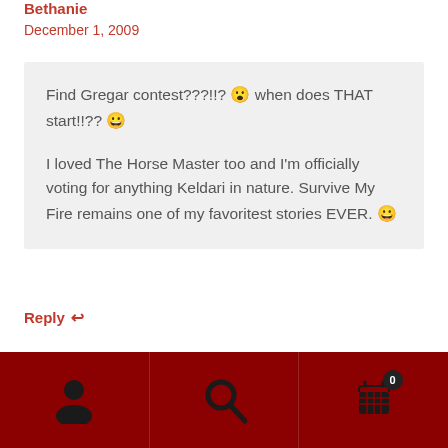Bethanie
December 1, 2009
Find Gregar contest???!!? 😮 when does THAT start!!?? 😀

I loved The Horse Master too and I'm officially voting for anything Keldari in nature. Survive My Fire remains one of my favoritest stories EVER. 😀
Reply ↩
[Figure (infographic): Dark red bottom navigation bar with three icon sections: person/user icon on left, magnifying glass/search icon in center, shopping cart with badge showing 0 on right]